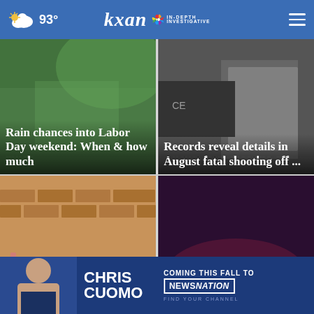93° | KXAN IN-DEPTH INVESTIGATIVE
[Figure (screenshot): News article card: Rain chances into Labor Day weekend: When & how much — green background with weather imagery]
[Figure (screenshot): News article card: Records reveal details in August fatal shooting off ... — dark background with emergency vehicle]
[Figure (screenshot): News article card: Austin's first Narcan vending machine ins... — brick wall with letter signage]
[Figure (screenshot): News article card: RR 620 Target fire controlled by fire — nighttime fire scene with emergency lights]
[Figure (advertisement): Ad banner: Chris Cuomo Coming This Fall to NewsNation Find Your Channel]